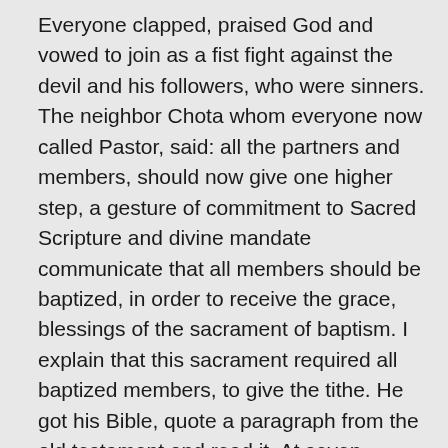Everyone clapped, praised God and vowed to join as a fist fight against the devil and his followers, who were sinners. The neighbor Chota whom everyone now called Pastor, said: all the partners and members, should now give one higher step, a gesture of commitment to Sacred Scripture and divine mandate communicate that all members should be baptized, in order to receive the grace, blessings of the sacrament of baptism. I explain that this sacrament required all baptized members, to give the tithe. He got his Bible, quote a paragraph from the old testament and read it. At seven months, all the members of the Association were already 250 people, who worked and that after baptized, they had to pay the tithe to pastor, i.e. giving God the tenth part of his salary, his income, for the support of the Christian work, the Saints, every end of the month. To deepen your understanding Allegiant